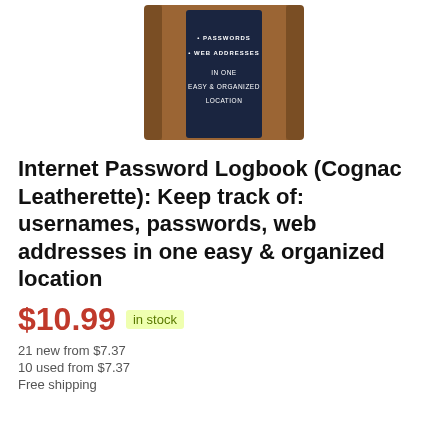[Figure (photo): Internet Password Logbook in Cognac Leatherette cover with dark navy band showing text about passwords, web addresses in one easy organized location]
Internet Password Logbook (Cognac Leatherette): Keep track of: usernames, passwords, web addresses in one easy & organized location
$10.99  in stock
21 new from $7.37
10 used from $7.37
Free shipping